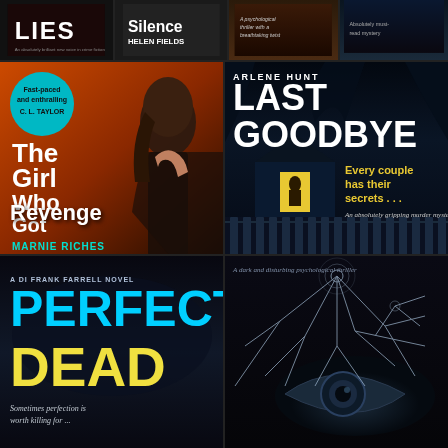[Figure (illustration): Top strip of 4 book covers: LIES, Silence by Helen Fields, two thriller covers]
[Figure (illustration): Book cover: The Girl Who Got Revenge by Marnie Riches. Orange/dark background with woman's silhouette, teal badge quoting C.L. Taylor as fast-paced and enthralling]
[Figure (illustration): Book cover: Last Goodbye by Arlene Hunt. Dark blue night scene with house, tagline Every couple has their secrets..., subtitle An absolutely gripping murder mystery thriller]
[Figure (illustration): Book cover: Perfect Dead, A DI Frank Farrell Novel. Dark background with cyan and yellow title text, tagline Sometimes perfection is...]
[Figure (illustration): Book cover: A dark and disturbing psychological thriller. Dark background with shattered glass and eye imagery]